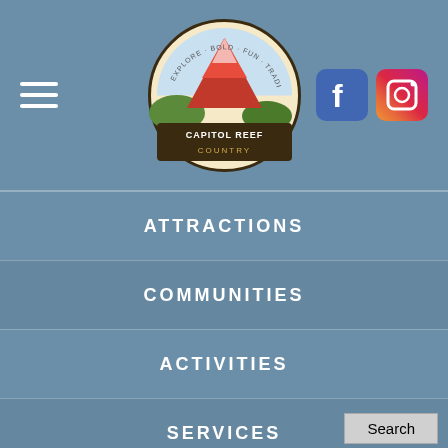[Figure (logo): Capitol Reef Country logo — semicircular badge with red rock arch and text]
[Figure (logo): Facebook social media icon — blue square with white F]
[Figure (logo): Instagram social media icon — gradient square with camera symbol]
ATTRACTIONS
COMMUNITIES
ACTIVITIES
SERVICES
MORE
PLANNER
EVENTS
Search